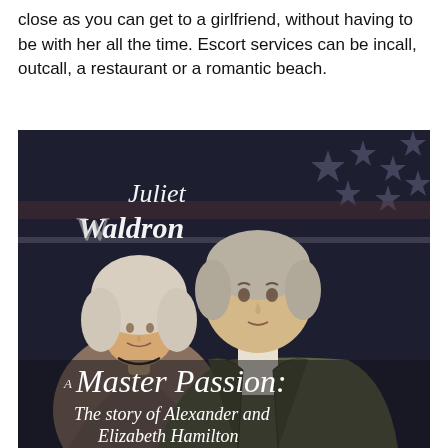close as you can get to a girlfriend, without having to be with her all the time. Escort services can be incall, outcall, a restaurant or a romantic beach.
[Figure (illustration): Book cover for 'A Master Passion: The story of Alexander and Elizabeth Hamilton' by Juliet Waldron. Shows two historical portrait figures — a woman in 18th-century dress with powdered wig on the left, and a man in a military coat on the right — against a backdrop of an American flag with stars. The author name 'Juliet Waldron' appears in script at the top, and the book title 'A Master Passion: The story of Alexander and Elizabeth Hamilton' appears in decorative script at the bottom.]